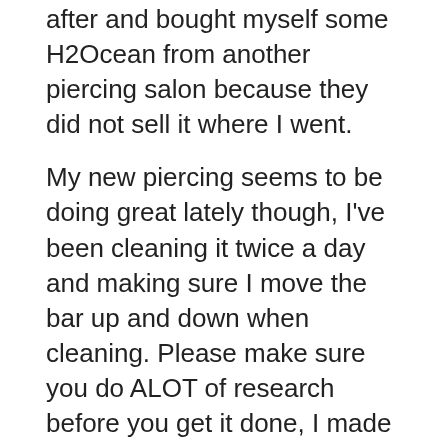after and bought myself some H2Ocean from another piercing salon because they did not sell it where I went.
My new piercing seems to be doing great lately though, I've been cleaning it twice a day and making sure I move the bar up and down when cleaning. Please make sure you do ALOT of research before you get it done, I made the mistake of not reading enough. 🙂
Feel free to comment on, or rate this story below.
Visit Belly Button Rings Guide Shop.
follow aftercare instructions
lisa piercing story
re-pierced my navel